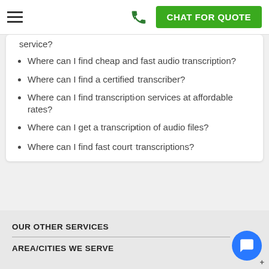CHAT FOR QUOTE
service?
Where can I find cheap and fast audio transcription?
Where can I find a certified transcriber?
Where can I find transcription services at affordable rates?
Where can I get a transcription of audio files?
Where can I find fast court transcriptions?
OUR OTHER SERVICES
AREA/CITIES WE SERVE